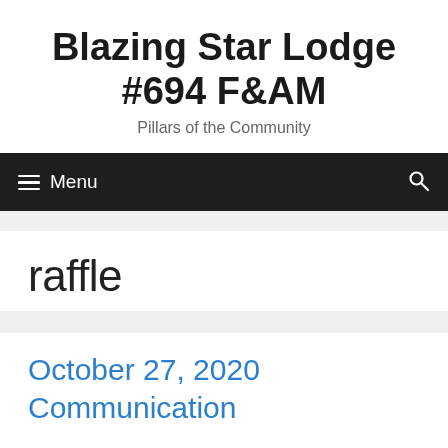Blazing Star Lodge #694 F&AM
Pillars of the Community
Menu
raffle
October 27, 2020 Communication